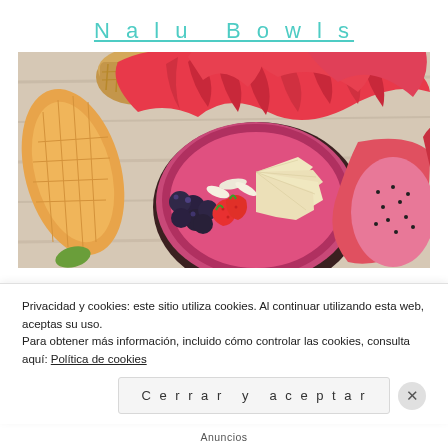Nalu Bowls
[Figure (photo): Overhead view of a smoothie bowl with dragon fruit, mango, blueberries, strawberries, pear slices, and coconut flakes on a wooden surface, with a whole dragon fruit beside it.]
Privacidad y cookies: este sitio utiliza cookies. Al continuar utilizando esta web, aceptas su uso.
Para obtener más información, incluido cómo controlar las cookies, consulta aquí: Política de cookies
Cerrar y aceptar
Anuncios